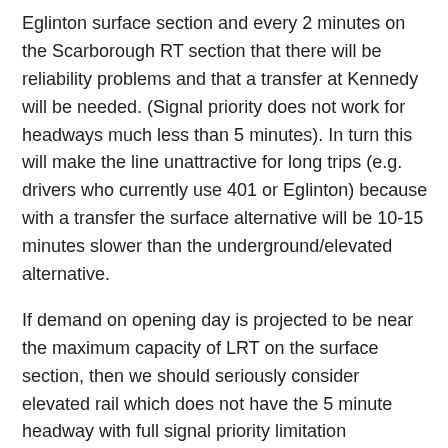Eglinton surface section and every 2 minutes on the Scarborough RT section that there will be reliability problems and that a transfer at Kennedy will be needed. (Signal priority does not work for headways much less than 5 minutes). In turn this will make the line unattractive for long trips (e.g. drivers who currently use 401 or Eglinton) because with a transfer the surface alternative will be 10-15 minutes slower than the underground/elevated alternative.
If demand on opening day is projected to be near the maximum capacity of LRT on the surface section, then we should seriously consider elevated rail which does not have the 5 minute headway with full signal priority limitation